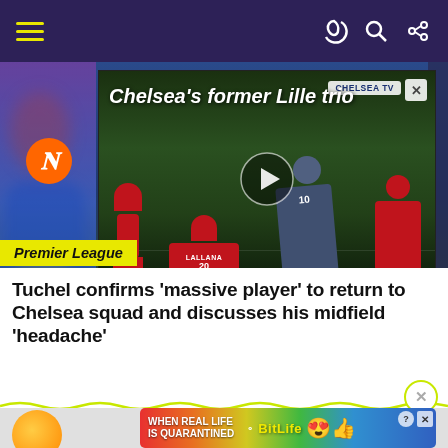Navigation bar with hamburger menu and icons
[Figure (screenshot): Video thumbnail showing soccer players on a pitch with text overlay 'Chelsea's former Lille trio' and a CHELSEA TV badge, with a play button in the center]
Premier League
Tuchel confirms ‘massive player’ to return to Chelsea squad and discusses his midfield ‘headache’
[Figure (screenshot): Advertisement banner for BitLife game with text 'WHEN REAL LIFE IS QUARANTINED' on a rainbow gradient background with emoji icons]